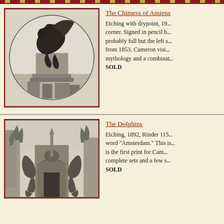[Figure (illustration): Etching of a chimera gargoyle perched on architectural stonework, with a circular composition framing the creature against a cityscape background. Printed in dark tones on light paper.]
The Chimera of Amiens
Etching with drypoint, 19... corner. Signed in pencil b... probably full but the left s... from 1853. Cameron visi... mythology and a combinat... SOLD
[Figure (illustration): Etching of an ornate architectural doorway or gateway with two large dolphin or sea-creature sculptures flanking the entrance, with decorative stonework and surrounding buildings visible.]
The Dolphins
Etching, 1892, Rinder 115... word "Amsterdam." This is... is the first print for Cam... complete sets and a few s... SOLD